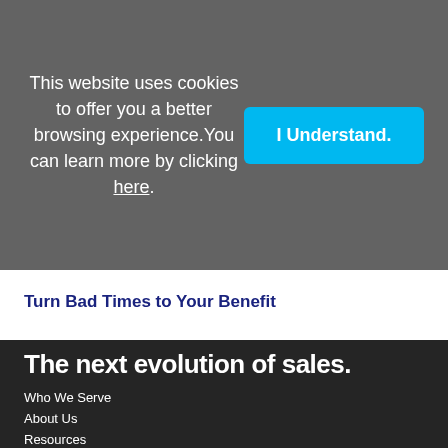This website uses cookies to offer you a better browsing experience. You can learn more by clicking here.
I Understand.
Turn Bad Times to Your Benefit
The next evolution of sales.
Who We Serve
About Us
Resources
Sandler Corporate
Legal Notice